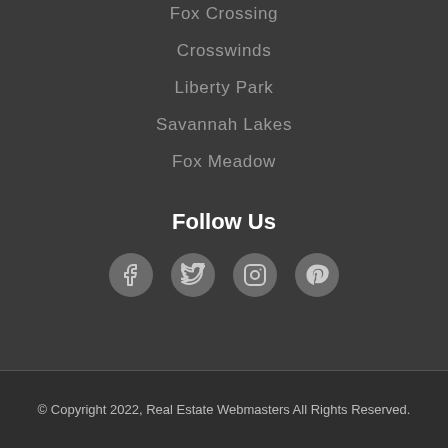Fox Crossing
Crosswinds
Liberty Park
Savannah Lakes
Fox Meadow
Follow Us
[Figure (other): Social media icons: Facebook, Twitter, Instagram, Pinterest]
© Copyright 2022, Real Estate Webmasters All Rights Reserved.